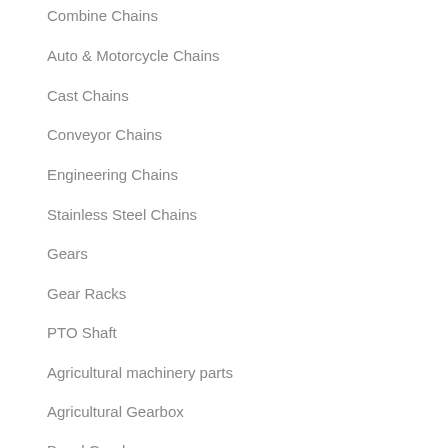Combine Chains
Auto & Motorcycle Chains
Cast Chains
Conveyor Chains
Engineering Chains
Stainless Steel Chains
Gears
Gear Racks
PTO Shaft
Agricultural machinery parts
Agricultural Gearbox
Bevel Gearboxes
Cycloidal Gear Reducer